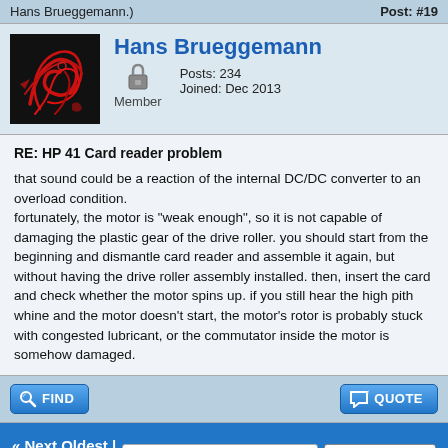Hans Brueggemann.)
Post: #19
Hans Brueggemann  Posts: 234  Joined: Dec 2013  Member
RE: HP 41 Card reader problem
that sound could be a reaction of the internal DC/DC converter to an overload condition.
fortunately, the motor is "weak enough", so it is not capable of damaging the plastic gear of the drive roller. you should start from the beginning and dismantle card reader and assemble it again, but without having the drive roller assembly installed. then, insert the card and check whether the motor spins up. if you still hear the high pith whine and the motor doesn't start, the motor's rotor is probably stuck with congested lubricant, or the commutator inside the motor is somehow damaged.
FIND  QUOTE
« Next Oldest | Next Newest »  Enter Keywords  Search Thread
NEW REPLY